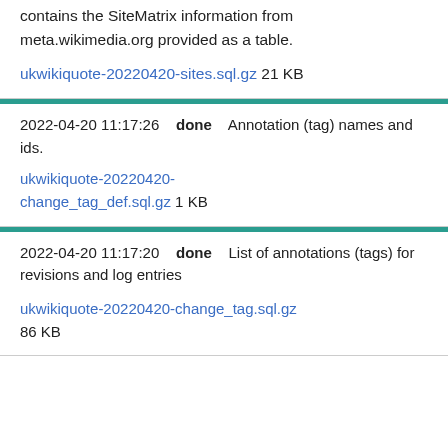contains the SiteMatrix information from meta.wikimedia.org provided as a table.
ukwikiquote-20220420-sites.sql.gz 21 KB
2022-04-20 11:17:26    done    Annotation (tag) names and ids.
ukwikiquote-20220420-change_tag_def.sql.gz 1 KB
2022-04-20 11:17:20    done    List of annotations (tags) for revisions and log entries
ukwikiquote-20220420-change_tag.sql.gz 86 KB